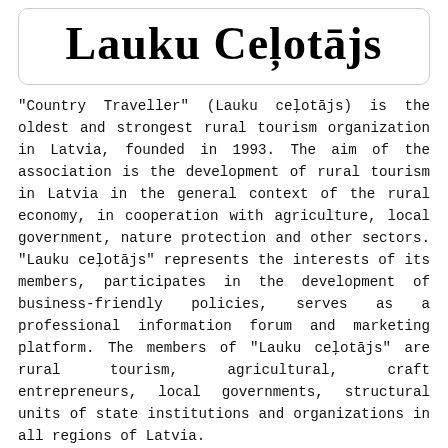Lauku Ceļotājs
"Country Traveller" (Lauku ceļotājs) is the oldest and strongest rural tourism organization in Latvia, founded in 1993. The aim of the association is the development of rural tourism in Latvia in the general context of the rural economy, in cooperation with agriculture, local government, nature protection and other sectors. "Lauku ceļotājs" represents the interests of its members, participates in the development of business-friendly policies, serves as a professional information forum and marketing platform. The members of "Lauku ceļotājs" are rural tourism, agricultural, craft entrepreneurs, local governments, structural units of state institutions and organizations in all regions of Latvia.
The Soviet Empire collapsed during the late 1980s and